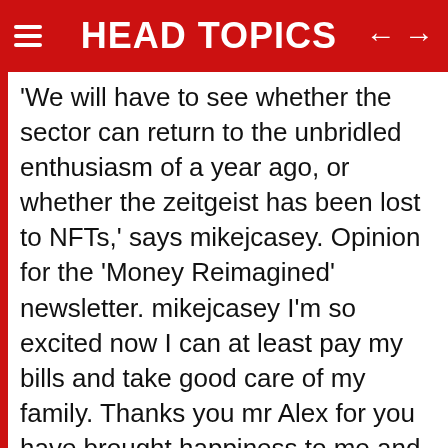HEAD TOPICS
'We will have to see whether the sector can return to the unbridled enthusiasm of a year ago, or whether the zeitgeist has been lost to NFTs,' says mikejcasey. Opinion for the 'Money Reimagined' newsletter. mikejcasey I'm so excited now I can at least pay my bills and take good care of my family. Thanks you mr Alex for you have brought happiness to me and my family thanks once again Alexmeurer_1 mikejcasey 🚀 $DOGECO 🚀 🌑 The next main token of all Doge tokens 🎮 🎮 Play 2 Earn 🎮 🎮 FINEXBOX EXCHANGE 🦎 🦎 COINGECKO 🦎 🦎 COIN